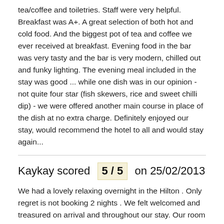tea/coffee and toiletries. Staff were very helpful. Breakfast was A+. A great selection of both hot and cold food. And the biggest pot of tea and coffee we ever received at breakfast. Evening food in the bar was very tasty and the bar is very modern, chilled out and funky lighting. The evening meal included in the stay was good ... while one dish was in our opinion - not quite four star (fish skewers, rice and sweet chilli dip) - we were offered another main course in place of the dish at no extra charge. Definitely enjoyed our stay, would recommend the hotel to all and would stay again...
Kaykay scored 5 / 5 on 25/02/2013
We had a lovely relaxing overnight in the Hilton . Only regret is not booking 2 nights . We felt welcomed and treasured on arrival and throughout our stay. Our room was bright, clean and spacious Delighted with layout of bathroom. We enjoyed a tasty lunch after arrival. City